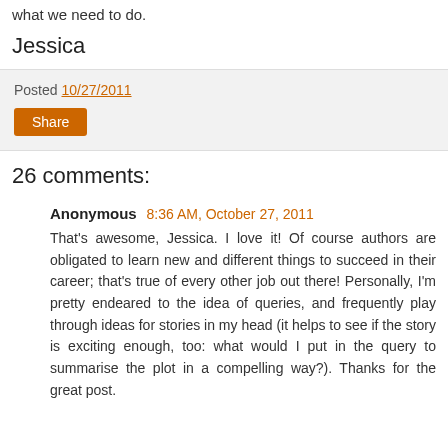what we need to do.
Jessica
Posted 10/27/2011
Share
26 comments:
Anonymous 8:36 AM, October 27, 2011
That's awesome, Jessica. I love it! Of course authors are obligated to learn new and different things to succeed in their career; that's true of every other job out there! Personally, I'm pretty endeared to the idea of queries, and frequently play through ideas for stories in my head (it helps to see if the story is exciting enough, too: what would I put in the query to summarise the plot in a compelling way?). Thanks for the great post.